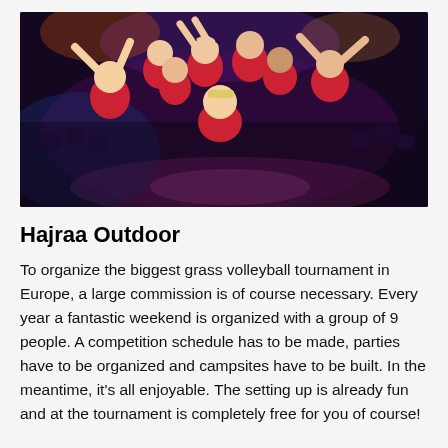[Figure (photo): Group of approximately 9 people in red shirts celebrating enthusiastically at what appears to be an indoor event or concert, with a crowd visible in the background and colorful lights. They are posing energetically with arms raised.]
Hajraa Outdoor
To organize the biggest grass volleyball tournament in Europe, a large commission is of course necessary. Every year a fantastic weekend is organized with a group of 9 people. A competition schedule has to be made, parties have to be organized and campsites have to be built. In the meantime, it's all enjoyable. The setting up is already fun and at the tournament is completely free for you of course!